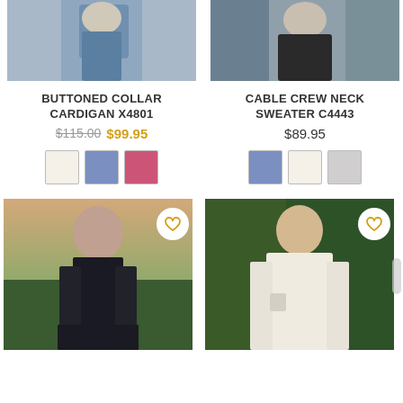[Figure (photo): Partial photo of model wearing blue buttoned collar cardigan, top portion cropped]
[Figure (photo): Partial photo of model wearing cable crew neck sweater, top portion cropped]
BUTTONED COLLAR CARDIGAN X4801
$115.00 $99.95
[Figure (other): Color swatches: cream/white, blue/periwinkle, pink/rose]
CABLE CREW NECK SWEATER C4443
$89.95
[Figure (other): Color swatches: blue/periwinkle, cream/white, light gray]
[Figure (photo): Model in black cable knit dress standing in countryside setting with heart/wishlist button]
[Figure (photo): Model in cream/ivory long cardigan with green foliage background and heart/wishlist button]